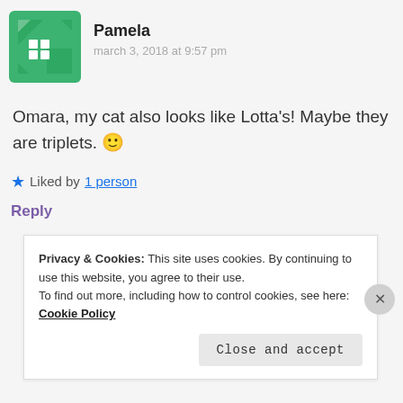[Figure (logo): Green avatar icon with white grid/building symbol for user Pamela]
Pamela
march 3, 2018 at 9:57 pm
Omara, my cat also looks like Lotta’s! Maybe they are triplets. 🙂
Liked by 1 person
Reply
[Figure (photo): Small photo of Omara, person against blue sky background]
Omara
Privacy & Cookies: This site uses cookies. By continuing to use this website, you agree to their use.
To find out more, including how to control cookies, see here: Cookie Policy
Close and accept